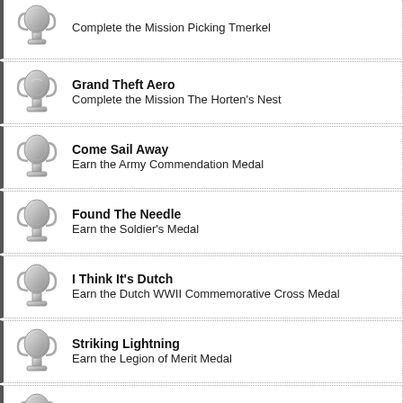Grand Theft Aero – Complete the Mission The Horten's Nest
Come Sail Away – Earn the Army Commendation Medal
Found The Needle – Earn the Soldier's Medal
I Think It's Dutch – Earn the Dutch WWII Commemorative Cross Medal
Striking Lightning – Earn the Legion of Merit Medal
Bug Spray – Earn the Distinguished Flying Service Cross
Full Frontal – Complete the Game On Any Difficulty
Less is More – Kill 1000 Enemies